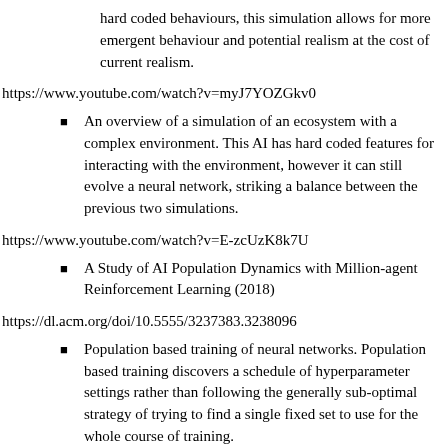hard coded behaviours, this simulation allows for more emergent behaviour and potential realism at the cost of current realism.
https://www.youtube.com/watch?v=myJ7YOZGkv0
An overview of a simulation of an ecosystem with a complex environment. This AI has hard coded features for interacting with the environment, however it can still evolve a neural network, striking a balance between the previous two simulations.
https://www.youtube.com/watch?v=E-zcUzK8k7U
A Study of AI Population Dynamics with Million-agent Reinforcement Learning (2018)
https://dl.acm.org/doi/10.5555/3237383.3238096
Population based training of neural networks. Population based training discovers a schedule of hyperparameter settings rather than following the generally sub-optimal strategy of trying to find a single fixed set to use for the whole course of training.
https://arxiv.org/abs/1711.09846 (the paper)